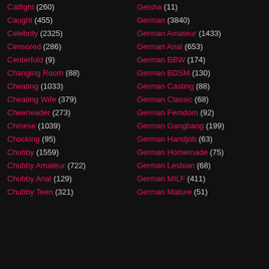Catfight (260)
Caught (455)
Celebrity (2325)
Censored (286)
Centerfold (9)
Changing Room (88)
Cheating (1033)
Cheating Wife (379)
Cheerleader (273)
Chinese (1039)
Chocking (95)
Chubby (1559)
Chubby Amateur (722)
Chubby Anal (129)
Chubby Teen (321)
Geisha (11)
German (3840)
German Amateur (1433)
German Anal (653)
German BBW (174)
German BDSM (130)
German Casting (88)
German Classic (68)
German Femdom (92)
German Gangbang (199)
German Handjob (63)
German Homemade (75)
German Lesbian (68)
German MILF (411)
German Mature (51)